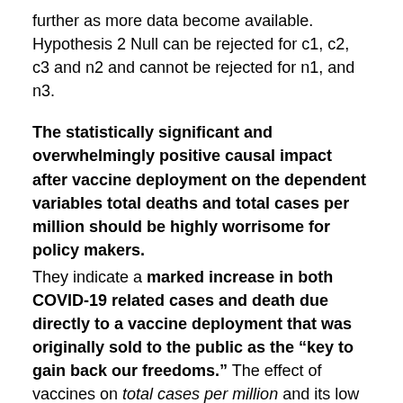further as more data become available. Hypothesis 2 Null can be rejected for c1, c2, c3 and n2 and cannot be rejected for n1, and n3.
The statistically significant and overwhelmingly positive causal impact after vaccine deployment on the dependent variables total deaths and total cases per million should be highly worrisome for policy makers.
They indicate a marked increase in both COVID-19 related cases and death due directly to a vaccine deployment that was originally sold to the public as the “key to gain back our freedoms.” The effect of vaccines on total cases per million and its low positive association with total vaccinations per hundred signifies a limited impact of vaccines on lowering COVID-19